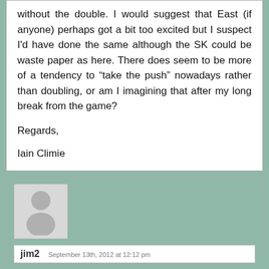without the double. I would suggest that East (if anyone) perhaps got a bit too excited but I suspect I'd have done the same although the SK could be waste paper as here. There does seem to be more of a tendency to “take the push” nowadays rather than doubling, or am I imagining that after my long break from the game?
Regards,
Iain Climie
jim2   September 13th, 2012 at 12:12 pm